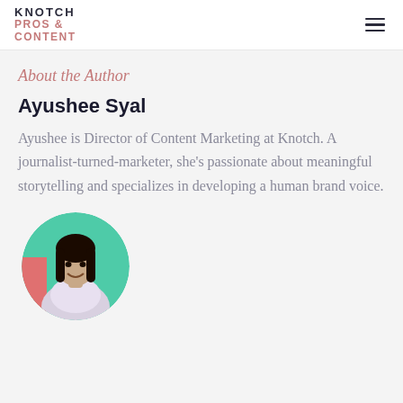KNOTCH PROS & CONTENT
About the Author
Ayushee Syal
Ayushee is Director of Content Marketing at Knotch. A journalist-turned-marketer, she's passionate about meaningful storytelling and specializes in developing a human brand voice.
[Figure (photo): Circular portrait photo of Ayushee Syal, a young woman with long dark hair, smiling, wearing a light blouse, standing in front of a colorful background.]